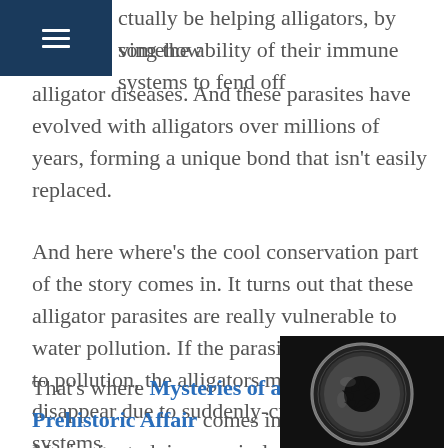☰ (navigation menu icon)
ctually be helping alligators, by somehow ving the ability of their immune systems to fend off alligator diseases. And these parasites have evolved with alligators over millions of years, forming a unique bond that isn't easily replaced.
And here where's the cool conservation part of the story comes in.  It turns out that these alligator parasites are really vulnerable to water pollution. If the parasites wink out due to pollution, the alligators may also disappear due to suddenly-crippled immune systems.
That's where Mysteries of a Prehistoric Affair comes in. Marisa is studying precisely how pollutants are affecting the alligator-parasite bond and alligator immune systems
[Figure (photo): Close-up black and white electron microscope image of a parasite, showing a circular mouth/sucker structure with a crown-like opening]